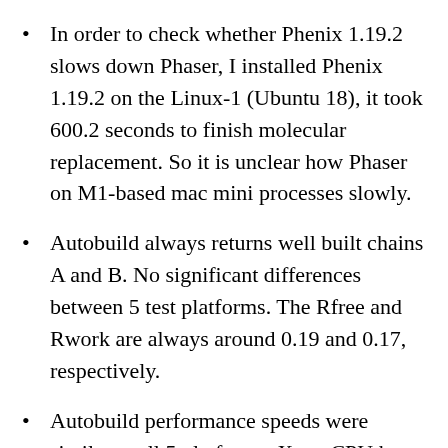In order to check whether Phenix 1.19.2 slows down Phaser, I installed Phenix 1.19.2 on the Linux-1 (Ubuntu 18), it took 600.2 seconds to finish molecular replacement. So it is unclear how Phaser on M1-based mac mini processes slowly.
Autobuild always returns well built chains A and B. No significant differences between 5 test platforms. The Rfree and Rwork are always around 0.19 and 0.17, respectively.
Autobuild performance speeds were similar at all 5 platforms. Xeon CPU has slower wall clock rates and it is indeed slow to do